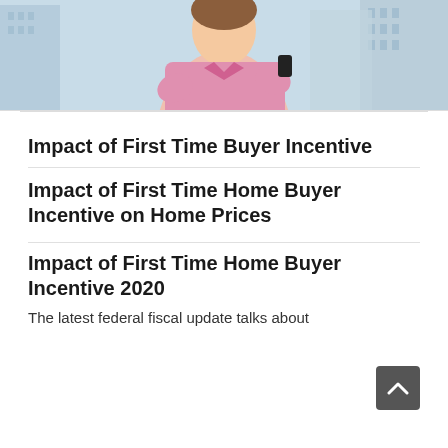[Figure (photo): Photo of a woman in a pink shirt holding a phone, standing in front of tall buildings (partial view, upper body cropped at top of frame).]
Impact of First Time Buyer Incentive
Impact of First Time Home Buyer Incentive on Home Prices
Impact of First Time Home Buyer Incentive 2020
The latest federal fiscal update talks about